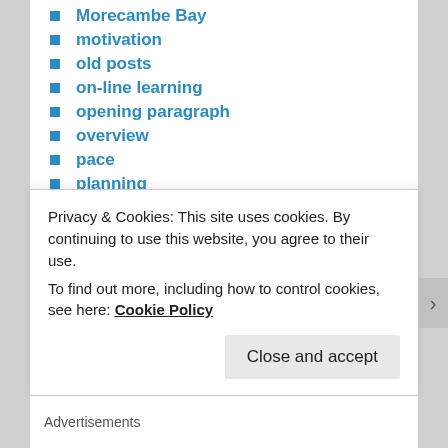Morecambe Bay
motivation
old posts
on-line learning
opening paragraph
overview
pace
planning
plot devices
plotting
point of view
Pricing
promotion
proof-reading
Publishing
Privacy & Cookies: This site uses cookies. By continuing to use this website, you agree to their use. To find out more, including how to control cookies, see here: Cookie Policy
Close and accept
Advertisements